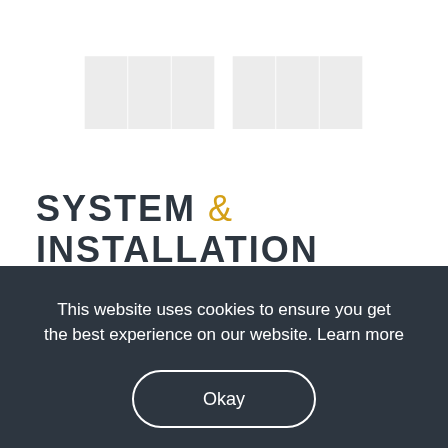[Figure (other): Faint watermark-style background text showing product/system images in very light gray]
SYSTEM & INSTALLATION DETAILS
This website uses cookies to ensure you get the best experience on our website. Learn more
Okay